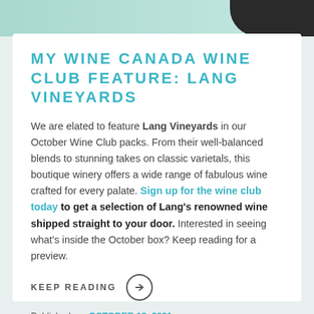[Figure (photo): Top banner image with teal/green background and dark wine bottles on the right side]
MY WINE CANADA WINE CLUB FEATURE: LANG VINEYARDS
We are elated to feature Lang Vineyards in our October Wine Club packs. From their well-balanced blends to stunning takes on classic varietals, this boutique winery offers a wide range of fabulous wine crafted for every palate. Sign up for the wine club today to get a selection of Lang's renowned wine shipped straight to your door. Interested in seeing what's inside the October box? Keep reading for a preview.
KEEP READING →
Published on: OCTOBER 13, 2021